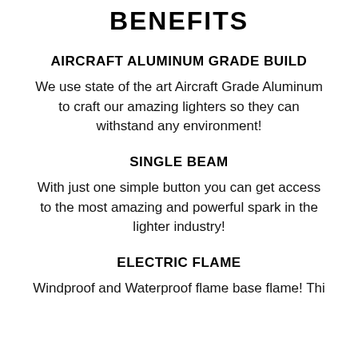BENEFITS
AIRCRAFT ALUMINUM GRADE BUILD
We use state of the art Aircraft Grade Aluminum to craft our amazing lighters so they can withstand any environment!
SINGLE BEAM
With just one simple button you can get access to the most amazing and powerful spark in the lighter industry!
ELECTRIC FLAME
Windproof and Waterproof flame base flame! Thi...